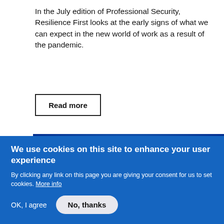In the July edition of Professional Security, Resilience First looks at the early signs of what we can expect in the new world of work as a result of the pandemic.
Read more
[Figure (photo): Blue glowing globe showing world map with network connection arcs and light rays, representing global connectivity]
We use cookies on this site to enhance your user experience
By clicking any link on this page you are giving your consent for us to set cookies. More info
OK, I agree   No, thanks